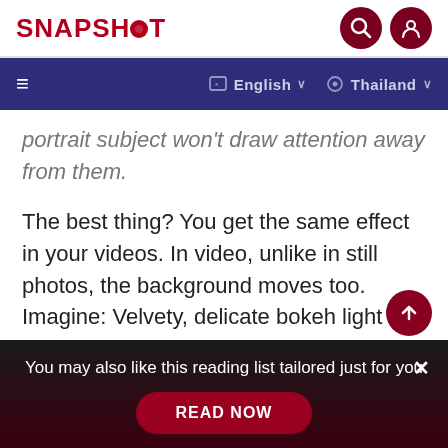SNAPSHOT
portrait subject won't draw attention away from them.
The best thing? You get the same effect in your videos. In video, unlike in still photos, the background moves too. Imagine: Velvety, delicate bokeh light circles floating gently in the background of your footage. Perfect fo
You may also like this reading list tailored just for you
READ NOW